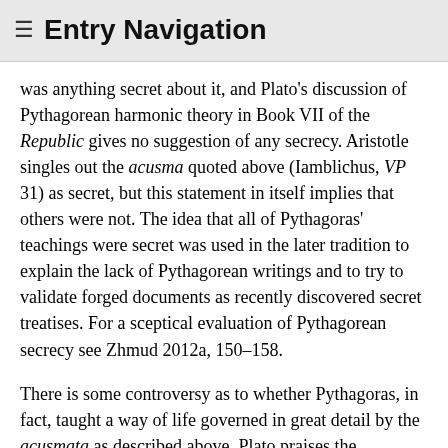≡ Entry Navigation
was anything secret about it, and Plato's discussion of Pythagorean harmonic theory in Book VII of the Republic gives no suggestion of any secrecy. Aristotle singles out the acusma quoted above (Iamblichus, VP 31) as secret, but this statement in itself implies that others were not. The idea that all of Pythagoras' teachings were secret was used in the later tradition to explain the lack of Pythagorean writings and to try to validate forged documents as recently discovered secret treatises. For a sceptical evaluation of Pythagorean secrecy see Zhmud 2012a, 150–158.
There is some controversy as to whether Pythagoras, in fact, taught a way of life governed in great detail by the acusmata as described above. Plato praises the Pythagorean way of life in the Republic (600b), but it is hard to imagine him admiring the set of taboos found in the acusmata (Lloyd 2014, 44; Zhmud 2012a). Although acusmata were collected already by Anaximander of Miletus the younger (ca. 400 BCE) and by Aristotle in the